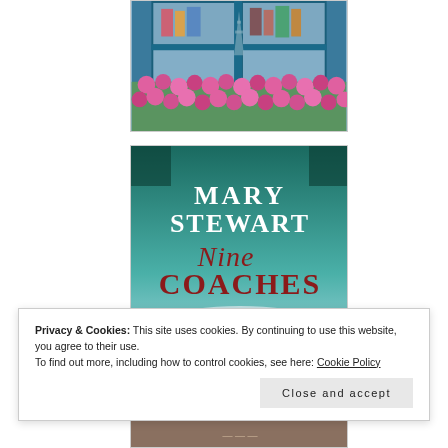[Figure (illustration): Book cover showing a Parisian shop window with pink flowers, blue window frames, and the Eiffel Tower visible through the glass.]
[Figure (illustration): Book cover for 'Nine Coaches Waiting' by Mary Stewart. Teal/green background with decorative script title text and author name in white and dark red.]
Privacy & Cookies: This site uses cookies. By continuing to use this website, you agree to their use.
To find out more, including how to control cookies, see here: Cookie Policy
Close and accept
[Figure (illustration): Partial view of a third book cover at the bottom of the page.]